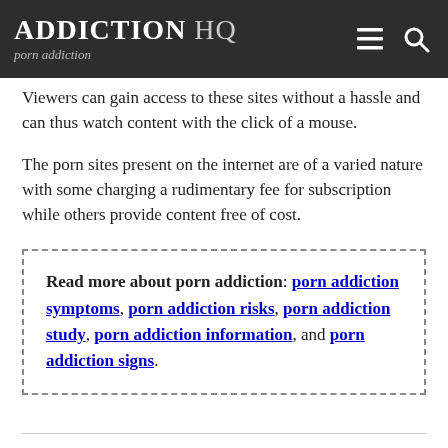ADDICTION HQ porn addiction
Viewers can gain access to these sites without a hassle and can thus watch content with the click of a mouse.
The porn sites present on the internet are of a varied nature with some charging a rudimentary fee for subscription while others provide content free of cost.
Read more about porn addiction: porn addiction symptoms, porn addiction risks, porn addiction study, porn addiction information, and porn addiction signs.